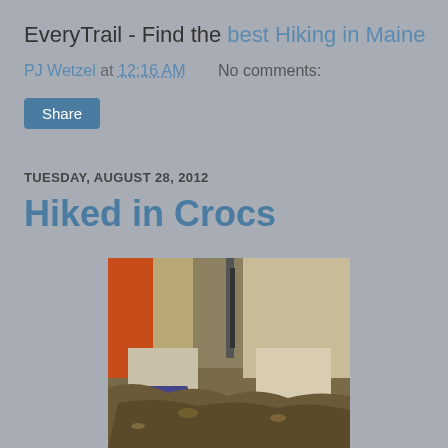EveryTrail - Find the best Hiking in Maine
PJ Wetzel at 12:16 AM    No comments:
Share
TUESDAY, AUGUST 28, 2012
Hiked in Crocs
[Figure (photo): Photo of a person's legs wearing Crocs sandals with white socks, standing on a rocky/rooty forest trail. The person wears khaki shorts and an orange and tan athletic jacket/bag is visible. A hiking pole strap is also visible.]